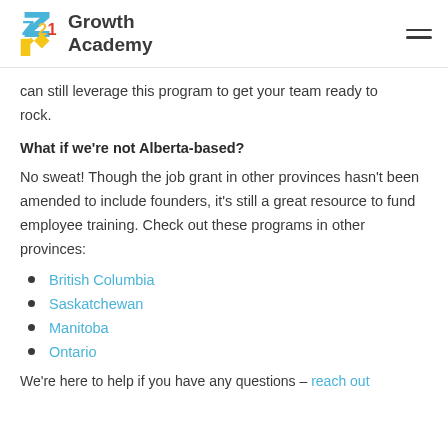Growth Academy
can still leverage this program to get your team ready to rock.
What if we're not Alberta-based?
No sweat! Though the job grant in other provinces hasn't been amended to include founders, it's still a great resource to fund employee training. Check out these programs in other provinces:
British Columbia
Saskatchewan
Manitoba
Ontario
We're here to help if you have any questions – reach out